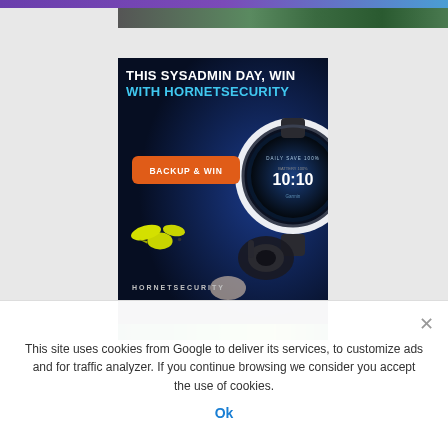[Figure (advertisement): Hornetsecurity 'Sysadmin Day' advertisement banner with dark blue background. White and cyan text reads 'THIS SYSADMIN DAY, WIN WITH HORNETSECURITY'. Orange button labeled 'BACKUP & WIN'. Yellow hornet/wasp logo with text 'HORNETSECURITY'. Right side shows a Garmin smartwatch displaying 10:10 and headphones/mouse imagery.]
This site uses cookies from Google to deliver its services, to customize ads and for traffic analyzer. If you continue browsing we consider you accept the use of cookies.
Ok